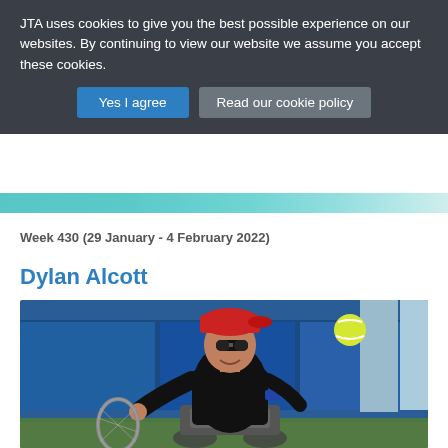JTA uses cookies to give you the best possible experience on our websites. By continuing to view our website we assume you accept these cookies.
Yes I agree
Read our cookie policy
Week 430 (29 January - 4 February 2022)
Dylan Alcott
[Figure (photo): Dylan Alcott, a wheelchair tennis player, wearing a red cap backwards, dark sunglasses, and a black shirt. He is mid-action reaching for a tennis ball with his racket. A yellow tennis ball is visible in the upper right area of the image, with a blue wall/backdrop behind him and a green court surface below.]